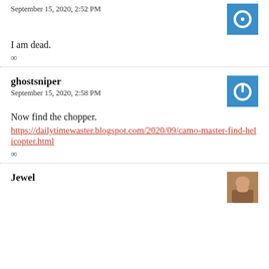September 15, 2020, 2:52 PM
I am dead.
∞
ghostsniper
September 15, 2020, 2:58 PM
Now find the chopper.
https://dailytimewaster.blogspot.com/2020/09/camo-master-find-helicopter.html
∞
Jewel